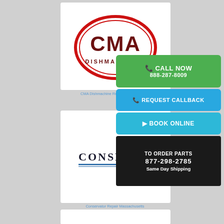[Figure (logo): CMA Dishmachine logo — red oval outline with CMA text in dark red and DISHMACHINES below]
CMA Dishmachine Repair Massachusetts
[Figure (logo): CONSERVATOR brand logo with blue underline]
Conservator Repair Massachusetts
CALL NOW 888-287-8009
REQUEST CALLBACK
BOOK ONLINE
TO ORDER PARTS 877-298-2785 Same Day Shipping